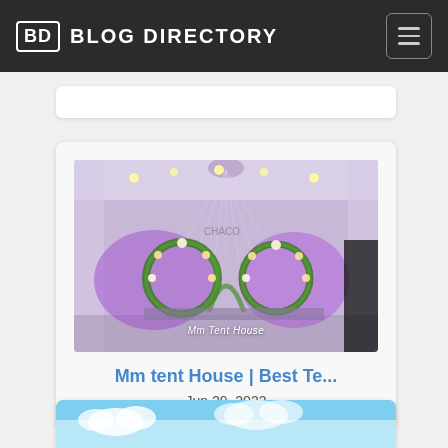BD BLOG DIRECTORY
[Figure (photo): Wedding tent decoration with purple lighting, floral arch rings, draped fabric ceiling, and 'Mm Tent House' watermark]
Mm tent House | Best Te...
Jun 29, 2022
[Figure (photo): Partial view of a blue sky with clouds - bottom card partially visible]